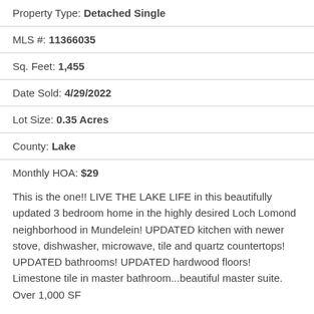Property Type: Detached Single
MLS #: 11366035
Sq. Feet: 1,455
Date Sold: 4/29/2022
Lot Size: 0.35 Acres
County: Lake
Monthly HOA: $29
This is the one!! LIVE THE LAKE LIFE in this beautifully updated 3 bedroom home in the highly desired Loch Lomond neighborhood in Mundelein! UPDATED kitchen with newer stove, dishwasher, microwave, tile and quartz countertops! UPDATED bathrooms! UPDATED hardwood floors! Limestone tile in master bathroom...beautiful master suite. Over 1,000 SF